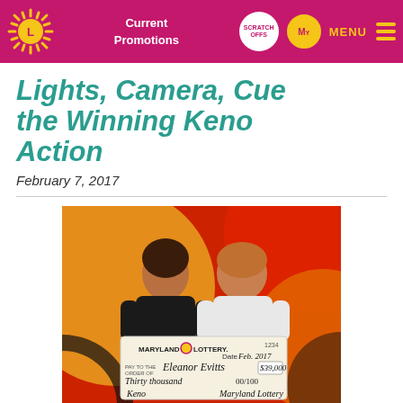Maryland Lottery - Current Promotions | Scratch Offs | My Rewards | MENU
Lights, Camera, Cue the Winning Keno Action
February 7, 2017
[Figure (photo): Two women smiling and holding a large Maryland Lottery ceremonial check made out to Eleanor Evitts for $39,000 (Thirty thousand 00/100), dated Feb 2017, for Keno. Background is colorful red, yellow, and orange circles.]